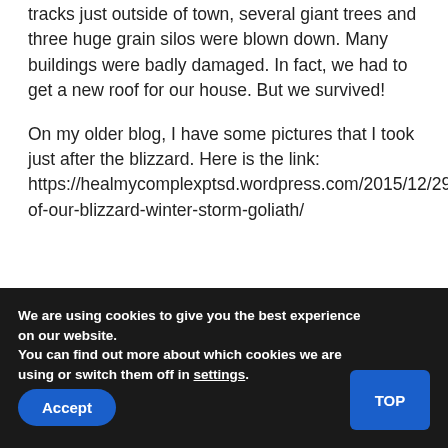tracks just outside of town, several giant trees and three huge grain silos were blown down. Many buildings were badly damaged. In fact, we had to get a new roof for our house. But we survived!
On my older blog, I have some pictures that I took just after the blizzard. Here is the link: https://healmycomplexptsd.wordpress.com/2015/12/29/pictures-of-our-blizzard-winter-storm-goliath/
We are using cookies to give you the best experience on our website.
You can find out more about which cookies we are using or switch them off in settings.